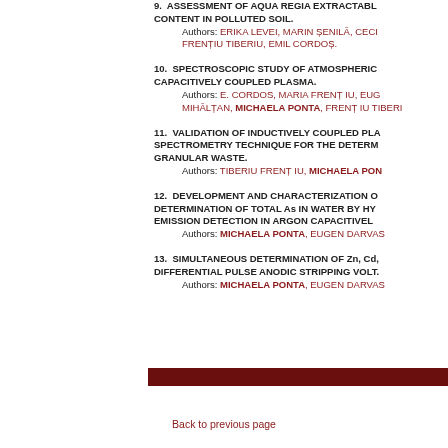9. ASSESSMENT OF AQUA REGIA EXTRACTABLE CONTENT IN POLLUTED SOIL. Authors: ERIKA LEVEI, MARIN ȘENILĂ, CECILIA, FRENȚIU TIBERIU, EMIL CORDOȘ.
10. SPECTROSCOPIC STUDY OF ATMOSPHERIC CAPACITIVELY COUPLED PLASMA. Authors: E. CORDOS, MARIA FRENTIU, EUGEN MIHĂLȚAN, MICHAELA PONTA, FRENTIU TIBERIU.
11. VALIDATION OF INDUCTIVELY COUPLED PLASMA SPECTROMETRY TECHNIQUE FOR THE DETERMINATION IN GRANULAR WASTE. Authors: TIBERIU FRENȚ IU, MICHAELA PONTA.
12. DEVELOPMENT AND CHARACTERIZATION OF DETERMINATION OF TOTAL As IN WATER BY HYDRIDE EMISSION DETECTION IN ARGON CAPACITIVELY. Authors: MICHAELA PONTA, EUGEN DARVAS.
13. SIMULTANEOUS DETERMINATION OF Zn, Cd, DIFFERENTIAL PULSE ANODIC STRIPPING VOLT. Authors: MICHAELA PONTA, EUGEN DARVAS.
Back to previous page